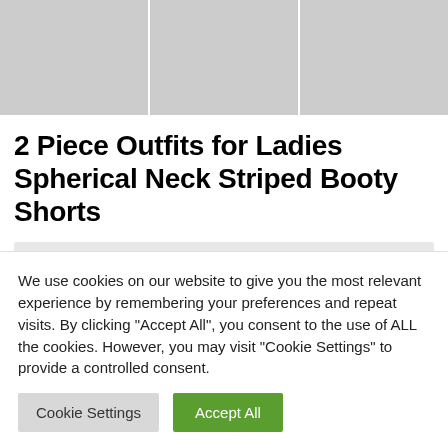[Figure (photo): Three product photos showing women wearing shorts outfits: left shows red shorts, middle shows black shorts with white slides, right shows shorts on a grassy path.]
2 Piece Outfits for Ladies Spherical Neck Striped Booty Shorts
[Figure (other): Gray placeholder box for additional content]
We use cookies on our website to give you the most relevant experience by remembering your preferences and repeat visits. By clicking “Accept All”, you consent to the use of ALL the cookies. However, you may visit "Cookie Settings" to provide a controlled consent.
Cookie Settings | Accept All